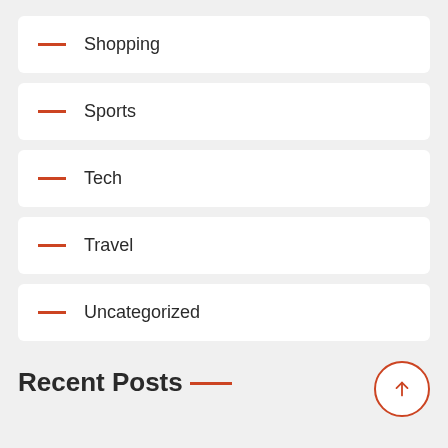Shopping
Sports
Tech
Travel
Uncategorized
Recent Posts